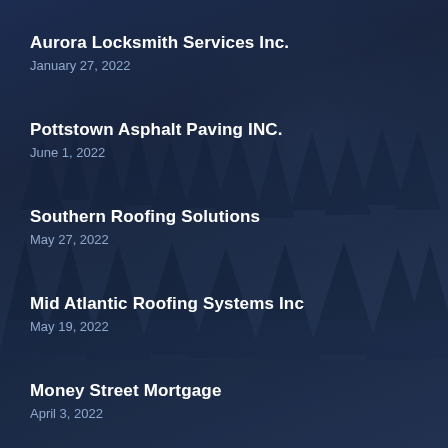Aurora Locksmith Services Inc.
January 27, 2022
Pottstown Asphalt Paving INC.
June 1, 2022
Southern Roofing Solutions
May 27, 2022
Mid Atlantic Roofing Systems Inc
May 19, 2022
Money Street Mortgage
April 3, 2022
Sunpath Freeze...